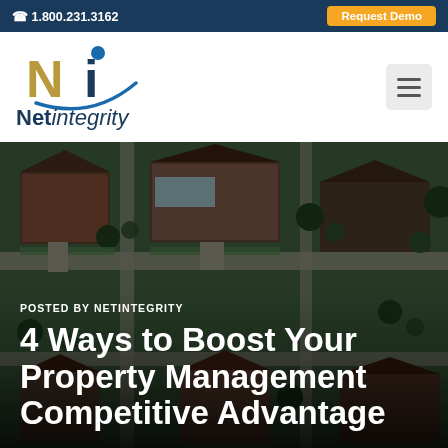1.800.231.3162 | Request Demo
[Figure (logo): Net Integrity logo with stylized N and i mark above the company name 'Net integrity']
[Figure (photo): Aerial overhead view of residential neighborhood with houses, driveways, trees, and landscaping viewed from above, dark green and brown tones]
POSTED BY NETINTEGRITY
4 Ways to Boost Your Property Management Competitive Advantage